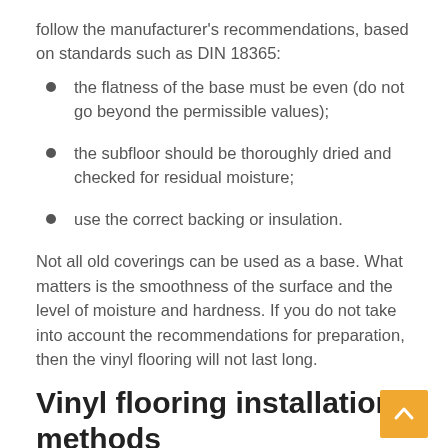follow the manufacturer's recommendations, based on standards such as DIN 18365:
the flatness of the base must be even (do not go beyond the permissible values);
the subfloor should be thoroughly dried and checked for residual moisture;
use the correct backing or insulation.
Not all old coverings can be used as a base. What matters is the smoothness of the surface and the level of moisture and hardness. If you do not take into account the recommendations for preparation, then the vinyl flooring will not last long.
Vinyl flooring installation methods